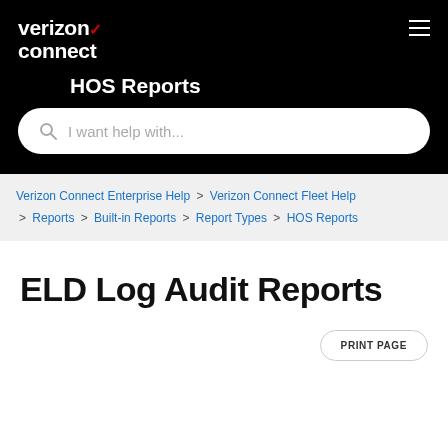[Figure (logo): Verizon Connect logo with checkmark in red]
HOS Reports
I want help with...
Verizon Connect Enterprise Help > Verizon Connect Fleet Help > Reports > Built-in Reports > Report Types > HOS Reports
ELD Log Audit Reports
PRINT PAGE